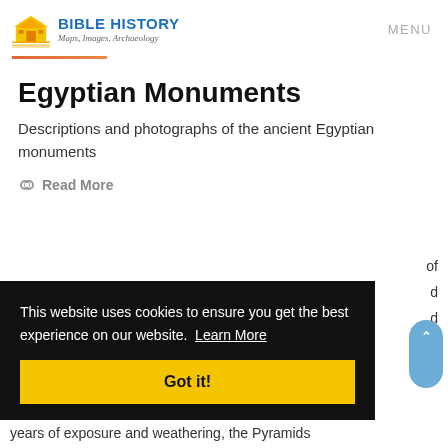BIBLE HISTORY Maps, Images, Archaeology | MENU
Egyptian Monuments
Descriptions and photographs of the ancient Egyptian monuments
Read More
This website uses cookies to ensure you get the best experience on our website. Learn More
Got it!
years of exposure and weathering, the Pyramids